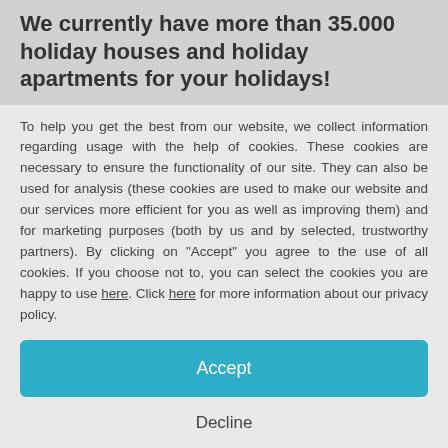We currently have more than 35.000 holiday houses and holiday apartments for your holidays!
To help you get the best from our website, we collect information regarding usage with the help of cookies. These cookies are necessary to ensure the functionality of our site. They can also be used for analysis (these cookies are used to make our website and our services more efficient for you as well as improving them) and for marketing purposes (both by us and by selected, trustworthy partners). By clicking on "Accept" you agree to the use of all cookies. If you choose not to, you can select the cookies you are happy to use here. Click here for more information about our privacy policy.
Accept
Decline
Configure